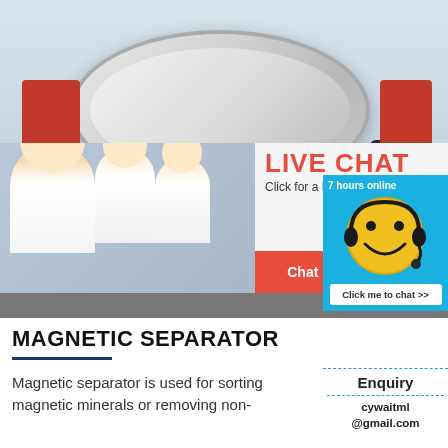[Figure (photo): Industrial magnetic separator machine with large red frame and cylindrical drum, mounted in a factory/warehouse setting. Overlaid with a live chat popup showing workers in yellow hard hats and buttons 'Chat now' and 'Chat later'.]
MAGNETIC SEPARATOR
Magnetic separator is used for sorting magnetic minerals or removing non-